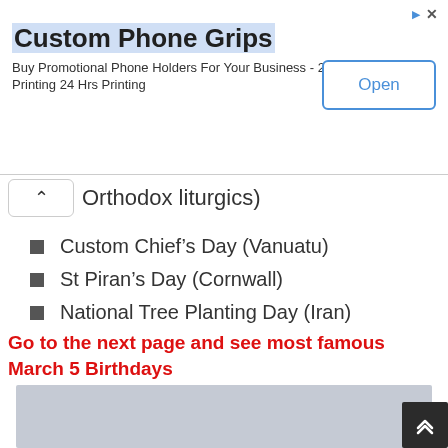[Figure (screenshot): Advertisement banner for Custom Phone Grips with Open button]
Custom Phone Grips
Buy Promotional Phone Holders For Your Business - 24hrs Printing 24 Hrs Printing
Orthodox liturgics)
Custom Chief’s Day (Vanuatu)
St Piran’s Day (Cornwall)
National Tree Planting Day (Iran)
Go to the next page and see most famous March 5 Birthdays